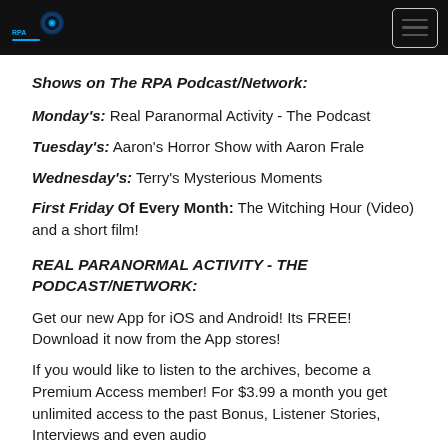RPA Podcast/Network logo and hamburger menu
Shows on The RPA Podcast/Network:
Monday's: Real Paranormal Activity - The Podcast
Tuesday's: Aaron's Horror Show with Aaron Frale
Wednesday's: Terry's Mysterious Moments
First Friday Of Every Month: The Witching Hour (Video) and a short film!
REAL PARANORMAL ACTIVITY - THE PODCAST/NETWORK:
Get our new App for iOS and Android! Its FREE! Download it now from the App stores!
If you would like to listen to the archives, become a Premium Access member! For $3.99 a month you get unlimited access to the past Bonus, Listener Stories, Interviews and even audio